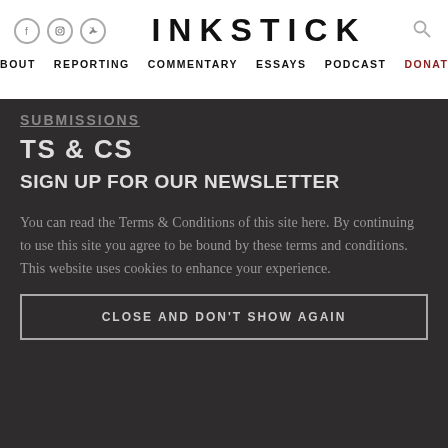INKSTICK
ABOUT  REPORTING  COMMENTARY  ESSAYS  PODCAST  DONATE
SUBMISSIONS
TS & CS
SIGN UP FOR OUR NEWSLETTER
You can read the Terms & Conditions of this site here. By continuing to use this site you agree to be bound by these terms and conditions. This website uses cookies to enhance your experience.
CLOSE AND DON'T SHOW AGAIN